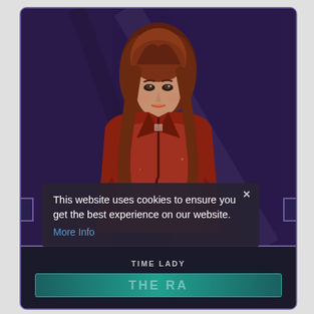[Figure (photo): Doctor Who trading card featuring a woman with red hair wearing a red outfit, on a dark purple background. The card has a Doctor Who TARDIS logo in the upper left, metallic notch decorations on the sides, a 'TIME LADY' type label, and a teal name bar at the bottom. A cookie consent overlay is present in the lower portion of the card.]
This website uses cookies to ensure you get the best experience on our website.
More Info
TIME LADY
THE RA...